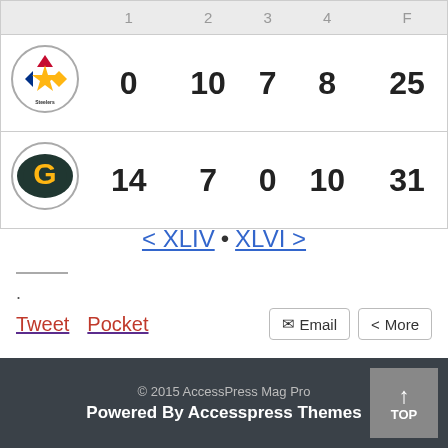|  | 1 | 2 | 3 | 4 | F |
| --- | --- | --- | --- | --- | --- |
| Steelers | 0 | 10 | 7 | 8 | 25 |
| Packers | 14 | 7 | 0 | 10 | 31 |
< XLIV • XLVI >
.
Tweet   Pocket   ✉ Email   < More
© 2015 AccessPress Mag Pro
Powered By Accesspress Themes